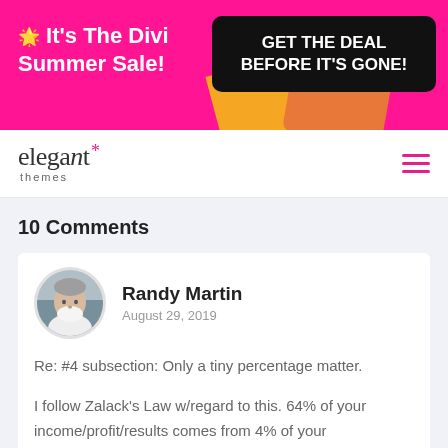[Figure (infographic): Pink promotional banner for Divi Summer Sale with black CTA box saying GET THE DEAL BEFORE IT'S GONE!]
[Figure (logo): Elegant Themes logo with pink asterisk star]
10 Comments
Randy Martin
August 29, 2019

Re: #4 subsection: Only a tiny percentage matter.

I follow Zalack's Law w/regard to this. 64% of your income/profit/results comes from 4% of your clients/contacts/customers.